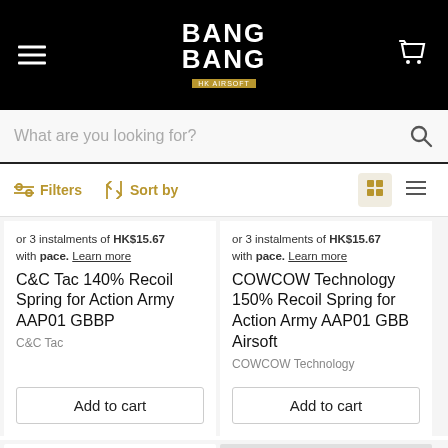BANG BANG
What are you looking for?
Filters  Sort by
or 3 instalments of HK$15.67 with pace. Learn more
C&C Tac 140% Recoil Spring for Action Army AAP01 GBBP
C&C Tac
Add to cart
or 3 instalments of HK$15.67 with pace. Learn more
COWCOW Technology 150% Recoil Spring for Action Army AAP01 GBB Airsoft
COWCOW Technology
Add to cart